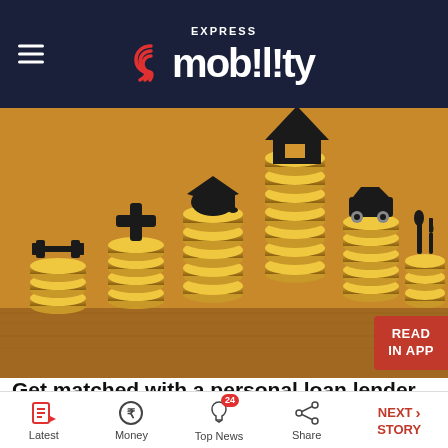Express Mobility
[Figure (photo): Stack of gold coins with black icons representing different loan categories: fitness/dumbbell, medical cross, graduation cap, house, car, and dining/cutlery on a wooden table background]
Get matched with a personal loan lender and get up to $50,000 funded same day.
ConsumerAffairs | Sponsored
Latest | Money | Top News (24) | Share | NEXT STORY